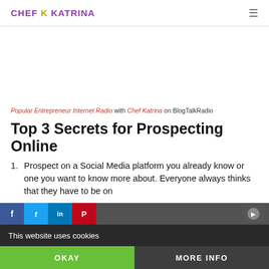CHEF K KATRINA
[Figure (other): Advertisement/banner area, blank white space]
Popular Entrepreneur Internet Radio with Chef Katrina on BlogTalkRadio
Top 3 Secrets for Prospecting Online
Prospect on a Social Media platform you already know or one you want to know more about. Everyone always thinks that they have to be on
This website uses cookies
OKAY
MORE INFO